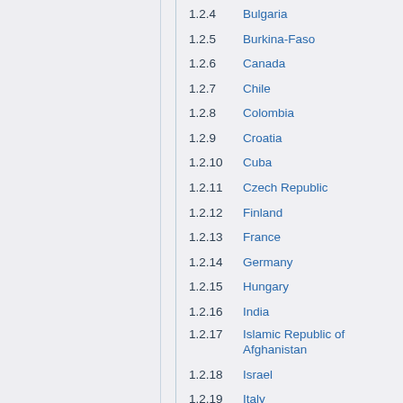1.2.4  Bulgaria
1.2.5  Burkina-Faso
1.2.6  Canada
1.2.7  Chile
1.2.8  Colombia
1.2.9  Croatia
1.2.10  Cuba
1.2.11  Czech Republic
1.2.12  Finland
1.2.13  France
1.2.14  Germany
1.2.15  Hungary
1.2.16  India
1.2.17  Islamic Republic of Afghanistan
1.2.18  Israel
1.2.19  Italy
1.2.20  Japan
1.2.21  Kenya
1.2.22  Kingdom of Saudi